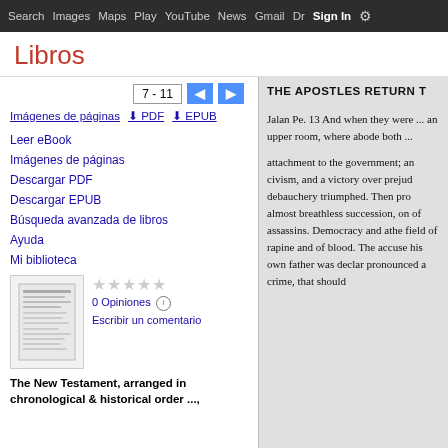Search  Images  Maps  Play  YouTube  News  Gmail  Drive  More  Sign in  [settings]
Libros
7 - 11  [prev] [next]  Imágenes de páginas  ⬇ PDF  ⬇ EPUB
Leer eBook
Imágenes de páginas
Descargar PDF
Descargar EPUB
Búsqueda avanzada de libros
Ayuda
Mi biblioteca
★★★★★  0 Opiniones ⓘ  Escribir un comentario
The New Testament, arranged in chronological & historical order ...,
THE APOSTLES RETURN T

Jalan Pe. 13 And when they were ... an upper room, where abode both ...

attachment to the government; an civism, and a victory over prejud debauchery triumphed. Then pro almost breathless succession, on of assassins. Democracy and athe field of rapine and of blood. The accuse his own father was declar pronounced a crime, that should